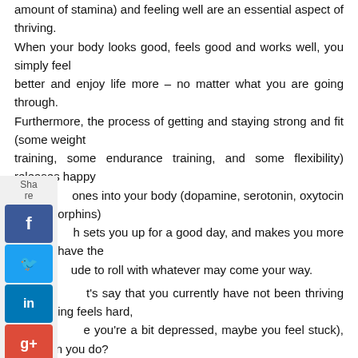amount of stamina) and feeling well are an essential aspect of thriving. When your body looks good, feels good and works well, you simply feel better and enjoy life more – no matter what you are going through. Furthermore, the process of getting and staying strong and fit (some weight training, some endurance training, and some flexibility) releases happy ones into your body (dopamine, serotonin, oxytocin and endorphins) h sets you up for a good day, and makes you more likely to have the ude to roll with whatever may come your way.
t's say that you currently have not been thriving (everything feels hard, e you're a bit depressed, maybe you feel stuck), what can you do?
Put a simple routine in place – the emphasis being on simple. If you over-engineer it, chances are it won't last. A simple routine may start with the decision to walk for 30 minutes 4 times a week. If you can, do it in the fresh air. Also, you might want to "multi-task" on this one – either listening to a book or inspiring podcast, or using it as a kind of moving meditation. Then, once this is established as a habit, you might start some strength training. I remember a challenge I did one year that consisted of squats, push-ups and plank.
Day 1: 10 squats; 10 push-ups; 20 seconds plank.
Day 2: 11 squats; 11 push-ups; 25 seconds plank.